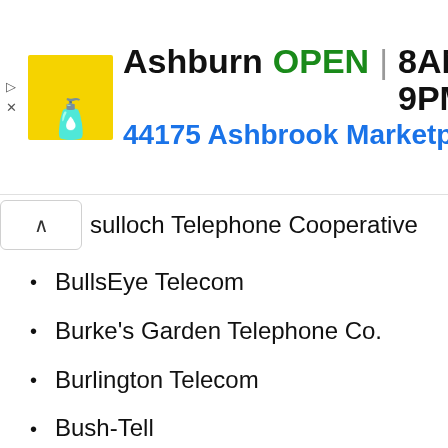[Figure (screenshot): Advertisement banner for Lidl store in Ashburn showing OPEN status, hours 8AM-9PM, and address 44175 Ashbrook Marketplace with navigation arrow icon]
Bulloch Telephone Cooperative
BullsEye Telecom
Burke's Garden Telephone Co.
Burlington Telecom
Bush-Tell
BWTelecom
C Spire
Cable One
Calaveras Telephone Company